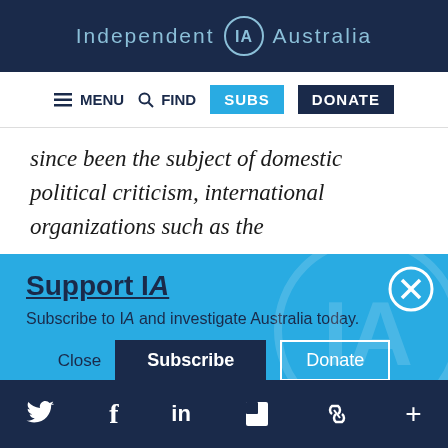Independent IA Australia
[Figure (screenshot): Navigation bar with MENU, FIND, SUBS, DONATE buttons]
since been the subject of domestic political criticism, international organizations such as the
Support IA
Subscribe to IA and investigate Australia today.
Close  Subscribe  Donate
Social media icons: Twitter, Facebook, LinkedIn, Flipboard, Link, Plus